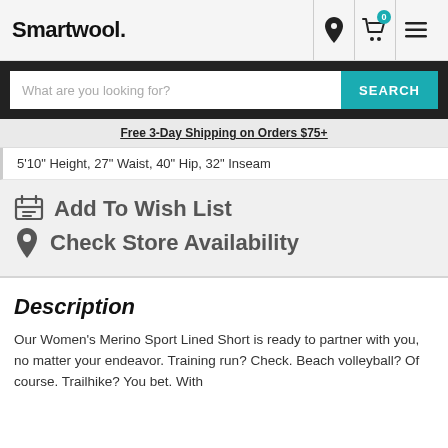Smartwool.
What are you looking for? SEARCH
Free 3-Day Shipping on Orders $75+
5'10" Height, 27" Waist, 40" Hip, 32" Inseam
Add To Wish List
Check Store Availability
Description
Our Women's Merino Sport Lined Short is ready to partner with you, no matter your endeavor. Training run? Check. Beach volleyball? Of course. Trailhike? You bet. With